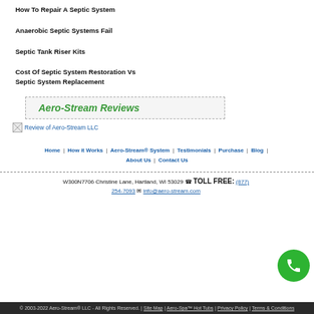How To Repair A Septic System
Anaerobic Septic Systems Fail
Septic Tank Riser Kits
Cost Of Septic System Restoration Vs Septic System Replacement
Aero-Stream Reviews
[Figure (other): Review of Aero-Stream LLC image/badge]
Home | How it Works | Aero-Stream® System | Testimonials | Purchase | Blog | About Us | Contact Us
W300N7706 Christine Lane, Hartland, WI 53029 ☎ TOLL FREE: (877) 254-7093 ✉ info@aero-stream.com
© 2003-2022 Aero-Stream® LLC - All Rights Reserved. | Site Map | Aero-Spa™ Hot Tubs | Privacy Policy | Terms & Conditions